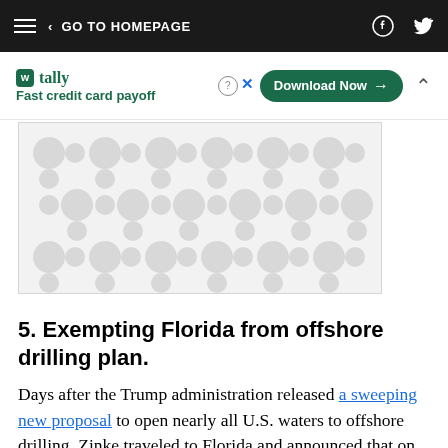< GO TO HOMEPAGE
[Figure (screenshot): Tally app advertisement banner with 'Fast credit card payoff' tagline and Download Now button]
[Figure (illustration): Gray decorative blob/circle pattern image placeholder]
5. Exempting Florida from offshore drilling plan.
Days after the Trump administration released a sweeping new proposal to open nearly all U.S. waters to offshore drilling, Zinke traveled to Florida and announced that on the recommendation of Gov. Rick Scott — a staunch